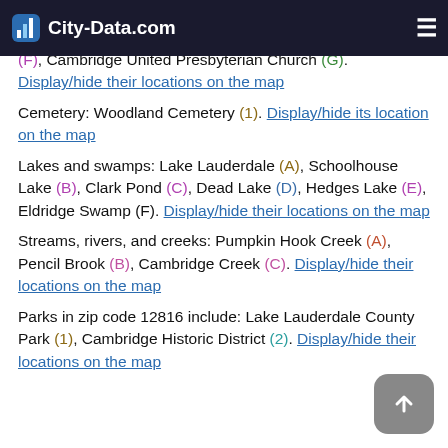City-Data.com
Church (A), Saint Lukes Church (B), Open Bible Baptist Church (D), Embury Methodist Church (E), Colla Church (F), Cambridge United Presbyterian Church (G). Display/hide their locations on the map
Cemetery: Woodland Cemetery (1). Display/hide its location on the map
Lakes and swamps: Lake Lauderdale (A), Schoolhouse Lake (B), Clark Pond (C), Dead Lake (D), Hedges Lake (E), Eldridge Swamp (F). Display/hide their locations on the map
Streams, rivers, and creeks: Pumpkin Hook Creek (A), Pencil Brook (B), Cambridge Creek (C). Display/hide their locations on the map
Parks in zip code 12816 include: Lake Lauderdale County Park (1), Cambridge Historic District (2). Display/hide their locations on the map